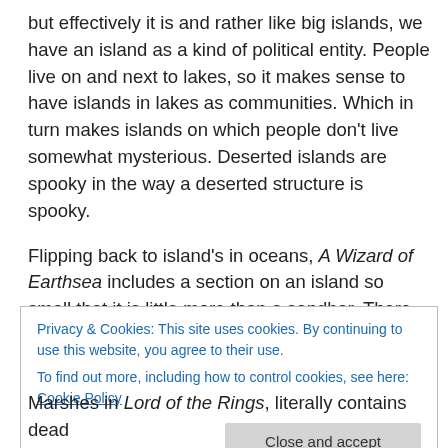but effectively it is and rather like big islands, we have an island as a kind of political entity. People live on and next to lakes, so it makes sense to have islands in lakes as communities. Which in turn makes islands on which people don't live somewhat mysterious. Deserted islands are spooky in the way a deserted structure is spooky.
Flipping back to island's in oceans, A Wizard of Earthsea includes a section on an island so small that it is little more than a sandbar. There Ged encounters two castaways with a mysterious past which goes unresolved in that book but which provides a bridge to the sequel.
Privacy & Cookies: This site uses cookies. By continuing to use this website, you agree to their use.
To find out more, including how to control cookies, see here: Cookie Policy
Close and accept
Marshes in Lord of the Rings, literally contains dead